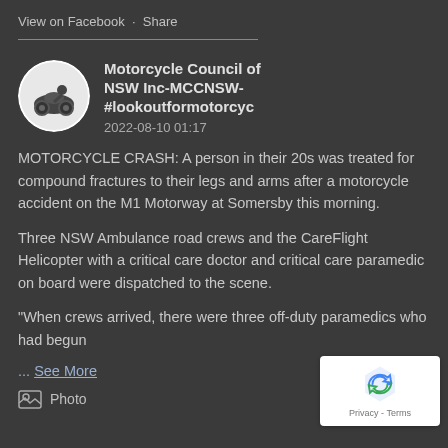View on Facebook · Share
Motorcycle Council of NSW Inc-MCCNSW-#lookoutformotorcyc
2022-08-10 01:17
MOTORCYCLE CRASH: A person in their 20s was treated for compound fractures to their legs and arms after a motorcycle accident on the M1 Motorway at Somersby this morning.
Three NSW Ambulance road crews and the CareFlight Helicopter with a critical care doctor and critical care paramedic on board were dispatched to the scene.
"When crews arrived, there were three off-duty paramedics who had begun
... See More
[Figure (illustration): Photo icon row at bottom]
[Figure (logo): reCAPTCHA badge with Privacy and Terms links]